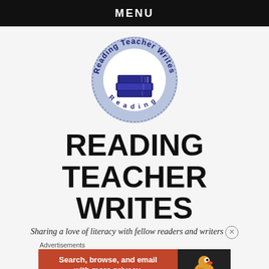MENU
[Figure (logo): Circular logo for 'Reading Teacher Writes' — light blue/lavender circle with dotted border, text curved around the top and bottom reading 'Reading Teacher Writes', with an illustration of a stack of books in the center]
READING TEACHER WRITES
Sharing a love of literacy with fellow readers and writers
Advertisements
[Figure (infographic): DuckDuckGo advertisement banner: orange/red left section with text 'Search, browse, and email with more privacy. All in One Free App', and dark right section with DuckDuckGo duck logo and 'DuckDuckGo' text]